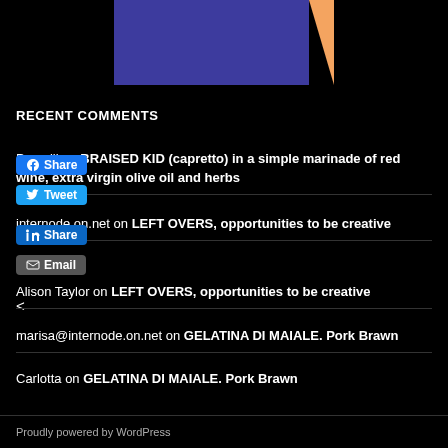[Figure (illustration): Abstract geometric image with dark blue/purple rectangle and orange triangle on black background]
RECENT COMMENTS
Pompili on BRAISED KID (capretto) in a simple marinade of red wine, extra virgin olive oil and herbs
internode.on.net on LEFT OVERS, opportunities to be creative
Alison Taylor on LEFT OVERS, opportunities to be creative
marisa@internode.on.net on GELATINA DI MAIALE. Pork Brawn
Carlotta on GELATINA DI MAIALE. Pork Brawn
Proudly powered by WordPress